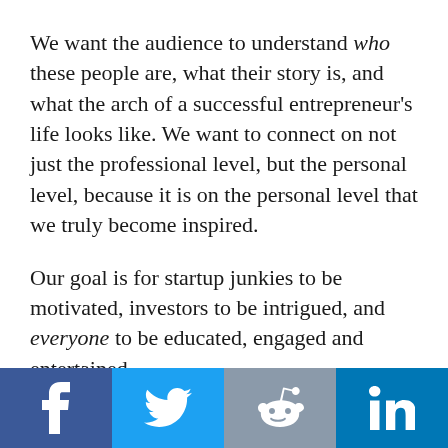We want the audience to understand who these people are, what their story is, and what the arch of a successful entrepreneur's life looks like. We want to connect on not just the professional level, but the personal level, because it is on the personal level that we truly become inspired.
Our goal is for startup junkies to be motivated, investors to be intrigued, and everyone to be educated, engaged and entertained.
[Figure (other): Social media share bar with Facebook, Twitter, Reddit, and LinkedIn icons]